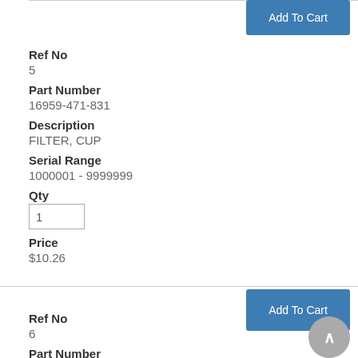[Figure (other): Add To Cart button (top)]
Ref No
5
Part Number
16959-471-831
Description
FILTER, CUP
Serial Range
1000001 - 9999999
Qty
1
Price
$10.26
[Figure (other): Add To Cart button (middle)]
Ref No
6
Part Number
16967-GA6-671